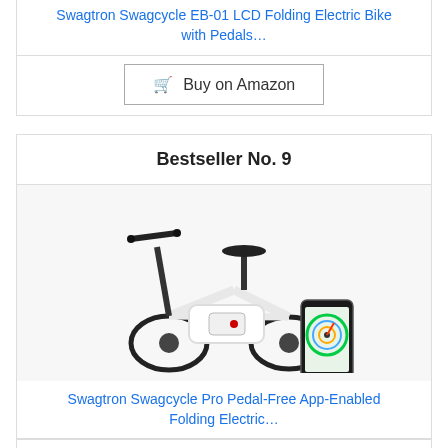Swagtron Swagcycle EB-01 LCD Folding Electric Bike with Pedals…
Buy on Amazon
Bestseller No. 9
[Figure (photo): White folding electric bike (Swagtron Swagcycle Pro) with a hand holding a smartphone showing an app interface]
Swagtron Swagcycle Pro Pedal-Free App-Enabled Folding Electric…
Buy on Amazon